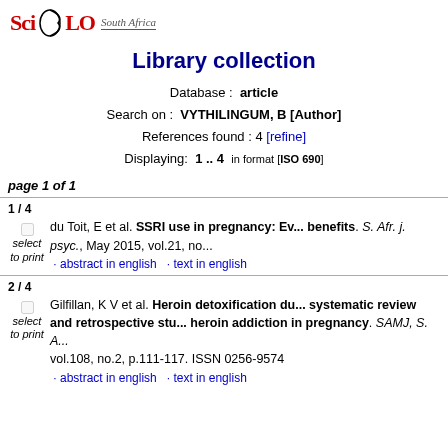[Figure (logo): SciELO South Africa logo with red text and arc graphic]
Library collection
Database : article
Search on : VYTHILINGUM, B [Author]
References found : 4 [refine]
Displaying: 1 .. 4  in format [ISO 690]
page 1 of 1
1 / 4
du Toit, E et al. SSRI use in pregnancy: Ev... benefits. S. Afr. j. psyc., May 2015, vol.21, no...
· abstract in english · text in english
2 / 4
Gilfillan, K V et al. Heroin detoxification du... systematic review and retrospective stu... heroin addiction in pregnancy. SAMJ, S. A... vol.108, no.2, p.111-117. ISSN 0256-9574
· abstract in english · text in english